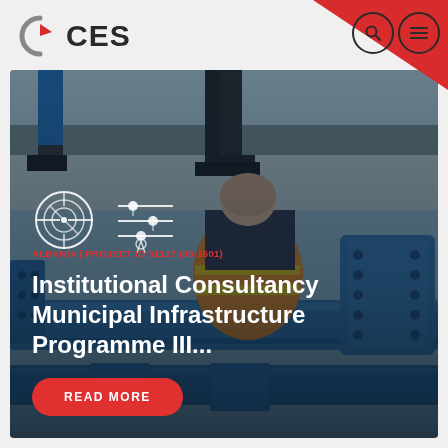[Figure (logo): CES company logo with grey arc/circle icon and bold CES text]
[Figure (photo): Photograph of a worker in orange high-visibility vest working on large blue water pipe flanges and valves, with two other workers standing in background. Blue industrial pipe fittings visible.]
ALBANIA | PROJECT ID 31117 (03-1601)
Institutional Consultancy Municipal Infrastructure Programme III...
READ MORE